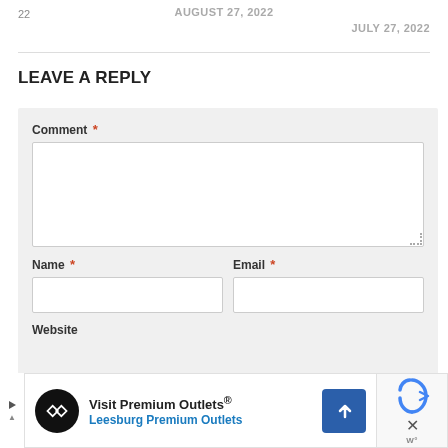22
AUGUST 27, 2022
JULY 27, 2022
LEAVE A REPLY
Comment *
Name *
Email *
Website
[Figure (other): Advertisement banner for Visit Premium Outlets, Leesburg Premium Outlets with logo, arrow icon, reCAPTCHA widget and close button]